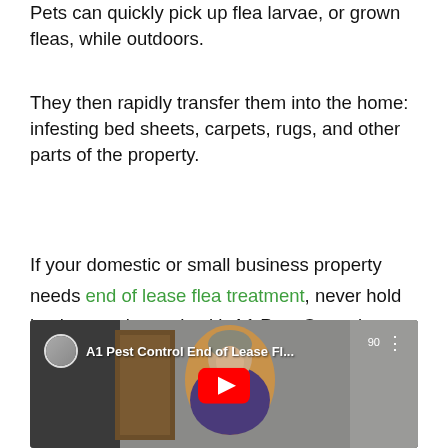Pets can quickly pick up flea larvae, or grown fleas, while outdoors.
They then rapidly transfer them into the home: infesting bed sheets, carpets, rugs, and other parts of the property.
If your domestic or small business property needs end of lease flea treatment, never hold back to get in touch with A1 Pest Control.
[Figure (screenshot): YouTube video thumbnail showing a woman standing outdoors near a door. The video title reads 'A1 Pest Control End of Lease Fl...' with a channel icon on the left and a red YouTube play button in the center.]